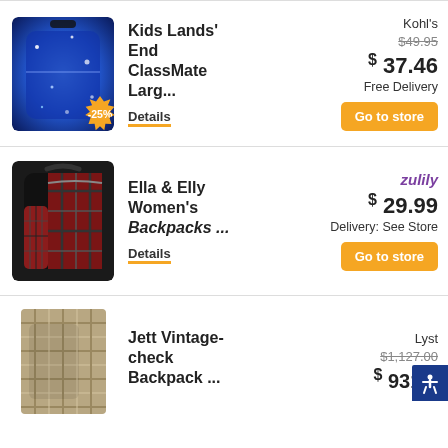[Figure (photo): Blue galaxy pattern kids backpack with -25% starburst badge]
Kids Lands' End ClassMate Larg...
Details
Kohl's
$49.95 (strikethrough)
$ 37.46
Free Delivery
Go to store
[Figure (photo): Women's plaid backpack, black and red tartan pattern]
Ella & Elly Women's Backpacks ...
Details
zulily
$ 29.99
Delivery: See Store
Go to store
[Figure (photo): Vintage-check backpack, beige plaid pattern]
Jett Vintage-check Backpack ...
Lyst
$1,127.00 (strikethrough)
$ 931.0